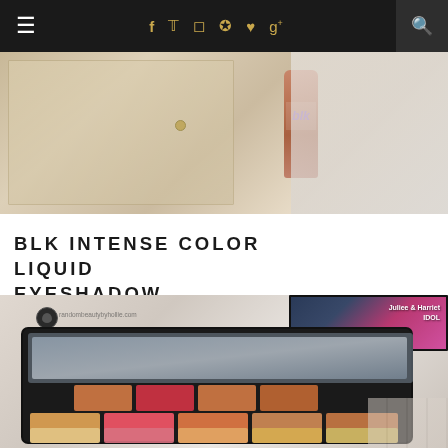Navigation bar with hamburger menu, social icons (f, twitter, instagram, pinterest, heart, g+), and search
[Figure (photo): Top-down photo of a 'blk' brand liquid eyeshadow bottle in rose-gold/bronze color, placed on a white/cream bathroom counter with cabinet doors visible in background]
BLK INTENSE COLOR LIQUID EYESHADOW ...
[Figure (photo): Beauty blogger photo from randombeautybyhollie.com showing an open eyeshadow palette with warm-toned shades (reds, corals, bronzes, golds, pinks) arranged in a 3x3 grid with mirror lid, and a floral-decorated palette box in top right corner]